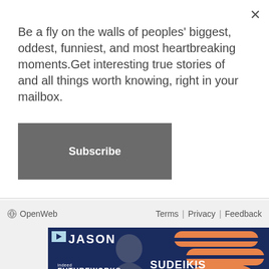Be a fly on the walls of peoples' biggest, oddest, funniest, and most heartbreaking moments.Get interesting true stories of and all things worth knowing, right in your mailbox.
Subscribe
OpenWeb   Terms | Privacy | Feedback
[Figure (photo): Advertisement for Indeed FutureWorks event featuring Jason Sudeikis. Dark navy blue background with orange geometric shapes. Text reads: JASON SUDEIKIS, indeed FUTUREWORKS, 12 --> 13 OCT | JAVITS CENTER, NYC]